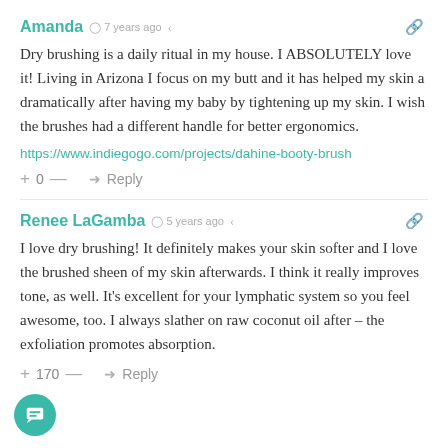Amanda  ⊙ 7 years ago  ≮
Dry brushing is a daily ritual in my house. I ABSOLUTELY love it! Living in Arizona I focus on my butt and it has helped my skin a dramatically after having my baby by tightening up my skin. I wish the brushes had a different handle for better ergonomics.
https://www.indiegogo.com/projects/dahine-booty-brush
+ 0 — → Reply
Renee LaGamba  ⊙ 5 years ago  ≮
I love dry brushing! It definitely makes your skin softer and I love the brushed sheen of my skin afterwards. I think it really improves tone, as well. It's excellent for your lymphatic system so you feel awesome, too. I always slather on raw coconut oil after – the exfoliation promotes absorption.
+170 — → Reply